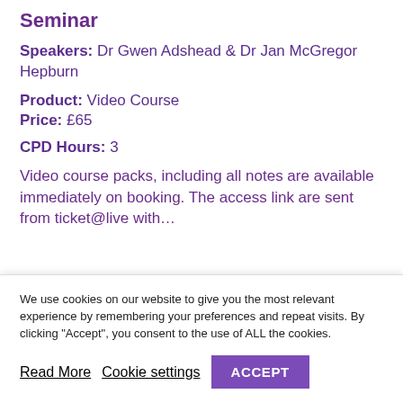Seminar
Speakers: Dr Gwen Adshead & Dr Jan McGregor Hepburn
Product: Video Course
Price: £65
CPD Hours: 3
Video course packs, including all notes are available immediately on booking. The access link...
We use cookies on our website to give you the most relevant experience by remembering your preferences and repeat visits. By clicking "Accept", you consent to the use of ALL the cookies.